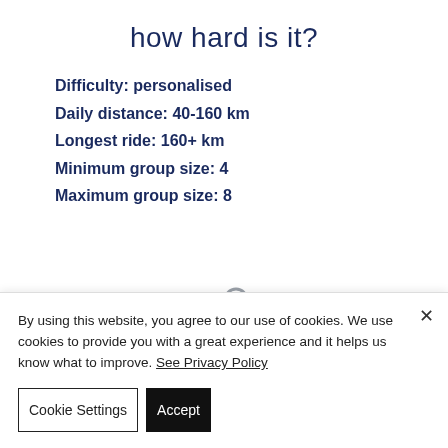how hard is it?
Difficulty: personalised
Daily distance: 40-160 km
Longest ride: 160+ km
Minimum group size: 4
Maximum group size: 8
[Figure (illustration): Gray location pin / map marker icon with a road/route curve element below it]
By using this website, you agree to our use of cookies. We use cookies to provide you with a great experience and it helps us know what to improve. See Privacy Policy
Cookie Settings
Accept